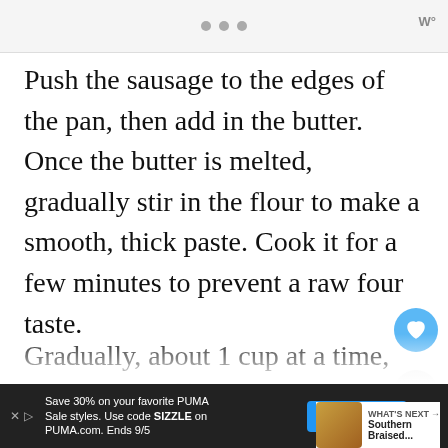● ● ●   W°
Push the sausage to the edges of the pan, then add in the butter. Once the butter is melted, gradually stir in the flour to make a smooth, thick paste. Cook it for a few minutes to prevent a raw four taste.
Gradually, about 1 cup at a time, stir in the mi 24 If the gravy starts to clump up, stir until it is smooth before adding more milk.
Add in the seasonings, mix everything together an...
[Figure (photo): Thumbnail image of Southern Braised dish next to 'WHAT'S NEXT' label]
Save 30% on your favorite PUMA Sale styles. Use code SIZZLE on PUMA.com. Ends 9/5   SHOP NOW   W°